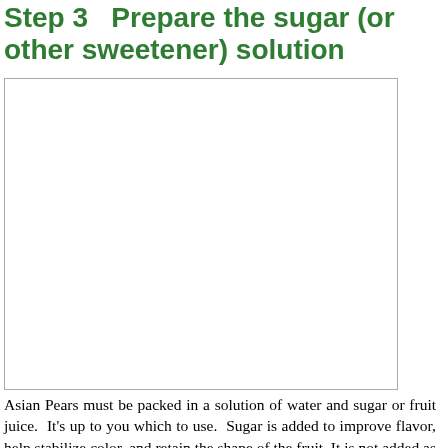Step 3  Prepare the sugar (or other sweetener) solution
[Figure (photo): Photograph placeholder showing preparation of sugar solution for canning Asian Pears]
Asian Pears must be packed in a solution of water and sugar or fruit juice.  It's up to you which to use.  Sugar is added to improve flavor, help stabilize color, and retain the shape of the fruit. It is not added as a preservative.  Sugar solution is much less expensive